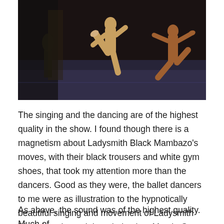[Figure (photo): Dancers performing on stage with dramatic lighting. Two figures visible — one in the center leaping or kicking, another on the right side. Dark background with blue/purple stage floor visible. A third figure can be seen in shadow on the left.]
The singing and the dancing are of the highest quality in the show. I found though there is a magnetism about Ladysmith Black Mambazo's moves, with their black trousers and white gym shoes, that took my attention more than the dancers. Good as they were, the ballet dancers to me were as illustration to the hypnotically beautiful singing and movement of Ladysmith Black Mambazo. I thought back to Marvin Gaye in 1976 with full orchestra and superb ballet dancers. However wonderful they were, your eyes were still drawn to the singer.
As above, the sound was of the highest quality. Much of